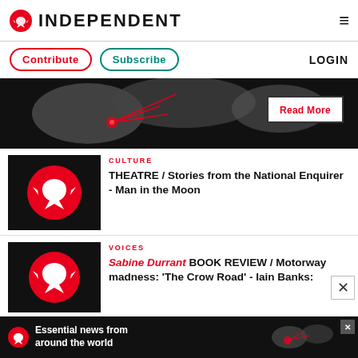INDEPENDENT
Contribute  Subscribe  LOGIN
[Figure (illustration): Dark world map with red lines and a red glowing point, with a 'Read More' button overlay]
CULTURE
[Figure (logo): The Independent eagle logo on red circle on black background]
THEATRE / Stories from the National Enquirer - Man in the Moon
VOICES
[Figure (logo): The Independent eagle logo on red circle on black background]
Sabine Durrant  BOOK REVIEW / Motorway madness: 'The Crow Road' - Iain Banks:
[Figure (illustration): Ad banner: Essential news from around the world with eagle logo and world map]